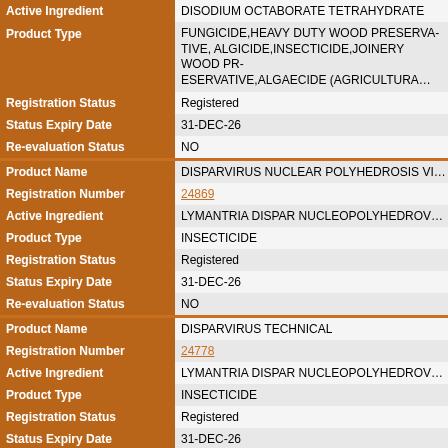| Field | Value |
| --- | --- |
| Active Ingredient | DISODIUM OCTABORATE TETRAHYDRATE |
| Product Type | FUNGICIDE,HEAVY DUTY WOOD PRESERVATIVE,ALGICIDE,INSECTICIDE,JOINERY WOOD PRESERVATIVE,ALGAECIDE (AGRICULTURAL) |
| Registration Status | Registered |
| Status Expiry Date | 31-DEC-26 |
| Re-evaluation Status | NO |
| Product Name | DISPARVIRUS NUCLEAR POLYHEDROSIS VIRUS |
| Registration Number | 24869 |
| Active Ingredient | LYMANTRIA DISPAR NUCLEOPOLYHEDROVIRUS |
| Product Type | INSECTICIDE |
| Registration Status | Registered |
| Status Expiry Date | 31-DEC-26 |
| Re-evaluation Status | NO |
| Product Name | DISPARVIRUS TECHNICAL |
| Registration Number | 24778 |
| Active Ingredient | LYMANTRIA DISPAR NUCLEOPOLYHEDROVIRUS |
| Product Type | INSECTICIDE |
| Registration Status | Registered |
| Status Expiry Date | 31-DEC-26 |
| Re-evaluation Status | NO |
| Product Name | DISRUPTOR 360 GLYPHOSATE HERBICIDE |